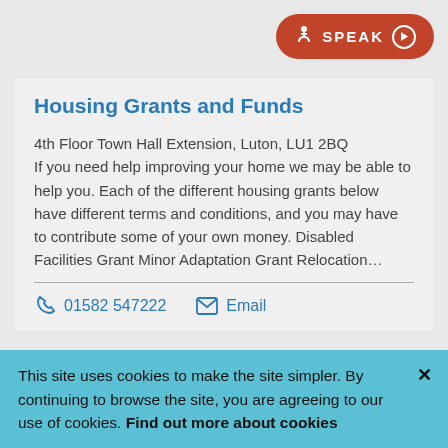[Figure (other): Orange rounded SPEAK button with accessibility icon and play button in top right corner]
Housing Grants and Funds
4th Floor Town Hall Extension, Luton, LU1 2BQ
If you need help improving your home we may be able to help you. Each of the different housing grants below have different terms and conditions, and you may have to contribute some of your own money. Disabled Facilities Grant Minor Adaptation Grant Relocation…
01582 547222   Email
This site uses cookies to make the site simpler. By continuing to browse the site, you are agreeing to our use of cookies. Find out more about cookies